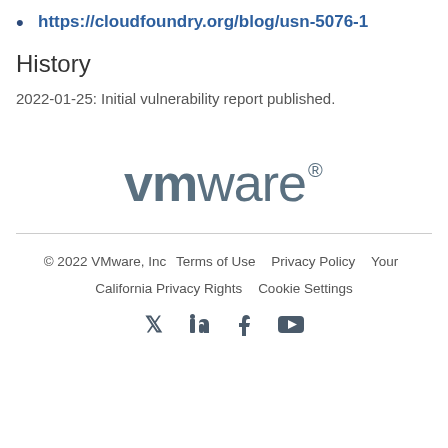https://cloudfoundry.org/blog/usn-5076-1
History
2022-01-25: Initial vulnerability report published.
[Figure (logo): VMware logo in gray text]
© 2022 VMware, Inc  Terms of Use  Privacy Policy  Your California Privacy Rights  Cookie Settings  [social icons: Twitter, LinkedIn, Facebook, YouTube]